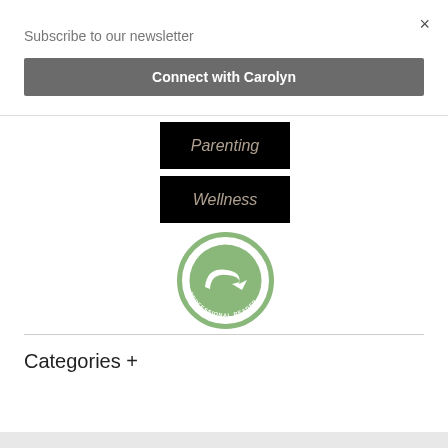×
Subscribe to our newsletter
Connect with Carolyn
[Figure (other): Black button with italic text 'Parenting' in brownish color]
[Figure (other): Black button with italic text 'Wellness' in brownish color]
[Figure (logo): NetGalley Member Professional Reader circular badge with green arrow logo]
Categories +